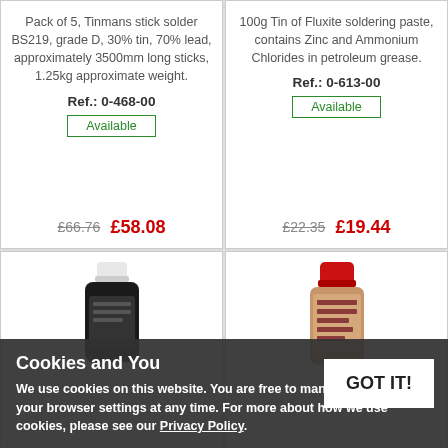Pack of 5, Tinmans stick solder BS219, grade D, 30% tin, 70% lead, approximately 3500mm long sticks, 1.25kg approximate weight.
Ref.: 0-468-00
Available
£66.76  £58.08
100g Tin of Fluxite soldering paste, contains Zinc and Ammonium Chlorides in petroleum grease.
Ref.: 0-613-00
Available
£22.35  £19.44
[Figure (photo): Black bottle with white cap product image]
[Figure (photo): Red-capped bottle with label product image]
Cookies and You
We use cookies on this website. You are free to manage these via your browser settings at any time. For more about how we use cookies, please see our Privacy Policy.
GOT IT!